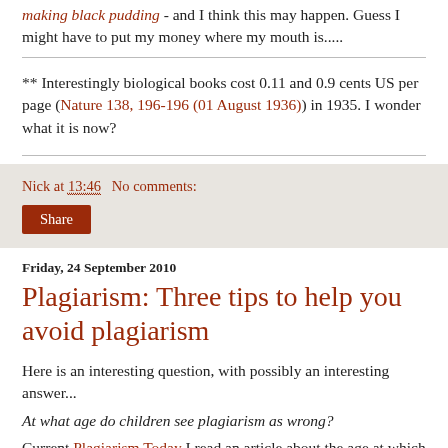making black pudding - and I think this may happen. Guess I might have to put my money where my mouth is.....
** Interestingly biological books cost 0.11 and 0.9 cents US per page (Nature 138, 196-196 (01 August 1936)) in 1935. I wonder what it is now?
Nick at 13:46   No comments:
Share
Friday, 24 September 2010
Plagiarism: Three tips to help you avoid plagiarism
Here is an interesting question, with possibly an interesting answer...
At what age do children see plagiarism as wrong?
Current Plagiarism Today I read an article about the age at which